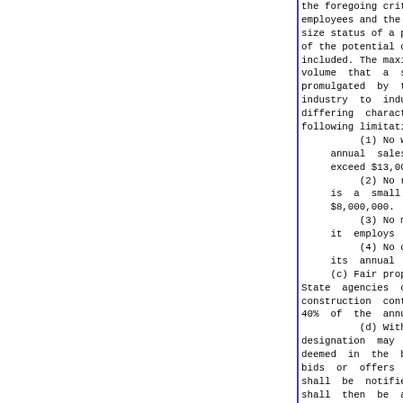the foregoing criteria other criteria including the number of employees and the dollar volume of annual sales or receipts, size status of a potential contractor and not only the location of the potential contractor and that those businesses be included. The maximum number of employees and the dollar volume that a small business concern may have shall be promulgated by the chief procurement officer and may vary from industry to industry to the extent necessary to reflect the differing characteristics of those industries, subject to the following limitations:
(1) No wholesale business concern is a small business if its annual sales for its most recently completed fiscal year exceed $13,000,000.
(2) No retail business or service concern is a small business if its annual sales or receipts exceed $8,000,000.
(3) No manufacturing business concern is a small business if it employs more than 250 persons.
(4) No construction business concern is a small business if its annual sales and receipts exceed $17,000,000.
(c) Fair proportion. For the purposes of this section, all State agencies of the executive branch shall ensure that construction contracts shall be awarded to small businesses 40% of the annual total contracts awarded.
(d) Withdrawal of designation. A small business concern designation may be withdrawn by the chief procurement officer if deemed in the best interests of the State. In such event, all bids or offers shall be rejected, the bidder or offeror shall be notified of the reason for the rejection, and bids shall then be awarded in accordance with this section.